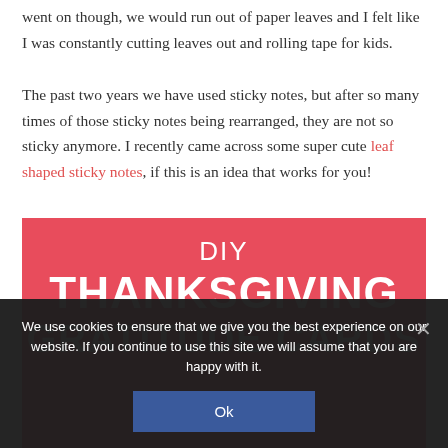went on though, we would run out of paper leaves and I felt like I was constantly cutting leaves out and rolling tape for kids.
The past two years we have used sticky notes, but after so many times of those sticky notes being rearranged, they are not so sticky anymore. I recently came across some super cute leaf shaped sticky notes, if this is an idea that works for you!
[Figure (illustration): Red banner image with white text reading DIY THANKSGIVING GRATITUDE CARDS]
We use cookies to ensure that we give you the best experience on our website. If you continue to use this site we will assume that you are happy with it.